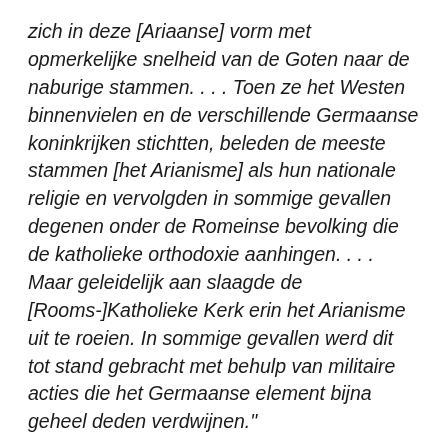zich in deze [Ariaanse] vorm met opmerkelijke snelheid van de Goten naar de naburige stammen. . . . Toen ze het Westen binnenvielen en de verschillende Germaanse koninkrijken stichtten, beleden de meeste stammen [het Arianisme] als hun nationale religie en vervolgden in sommige gevallen degenen onder de Romeinse bevolking die de katholieke orthodoxie aanhingen. . . . Maar geleidelijk aan slaagde de [Rooms-]Katholieke Kerk erin het Arianisme uit te roeien. In sommige gevallen werd dit tot stand gebracht met behulp van militaire acties die het Germaanse element bijna geheel deden verdwijnen."
Dit vond plaats tijdens de regering van keizer Justinianus, die de ambitie koesterde het Romeinse Rijk tot zijn voormalige glorie te herstellen en berucht was wegens zijn vervolgingen, niet alleen van de Arianen, maar ook van de joden en de Samaritanen. Hij verbood de joden zelfs hun